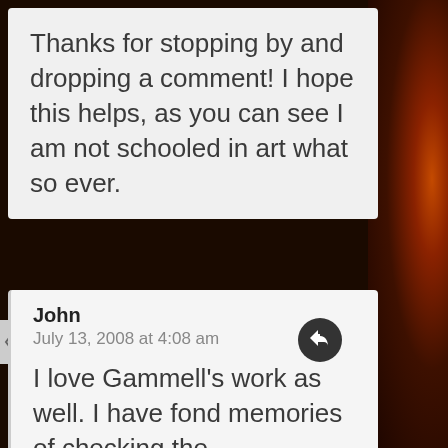Thanks for stopping by and dropping a comment! I hope this helps, as you can see I am not schooled in art what so ever.
John
July 13, 2008 at 4:08 am
I love Gammell's work as well. I have fond memories of checking the